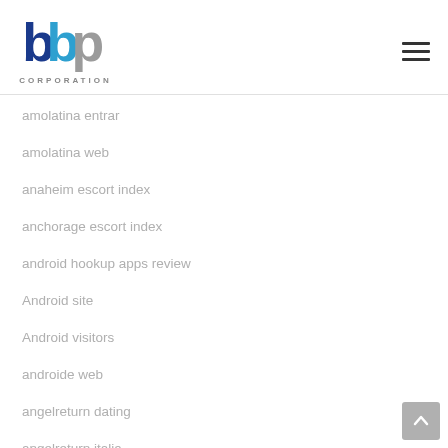[Figure (logo): BBP Corporation logo with blue and grey lettering and 'CORPORATION' text below]
amolatina entrar
amolatina web
anaheim escort index
anchorage escort index
android hookup apps review
Android site
Android visitors
androide web
angelreturn dating
angelreturn italia